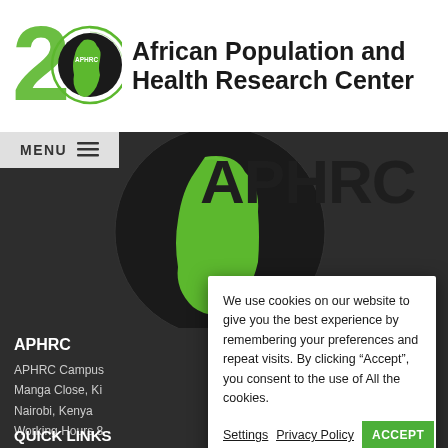[Figure (logo): APHRC 20th anniversary logo with green stylized '20' and globe icon]
African Population and Health Research Center
[Figure (screenshot): APHRC website header screenshot showing dark background with globe graphic, MENU navigation bar, and large APHRC text overlay]
APHRC
APHRC Campus
Manga Close, Ki
Nairobi, Kenya
Working Hours 8
We use cookies on our website to give you the best experience by remembering your preferences and repeat visits. By clicking “Accept”, you consent to the use of All the cookies.
Settings   Privacy Policy   ACCEPT
QUICK LINKS